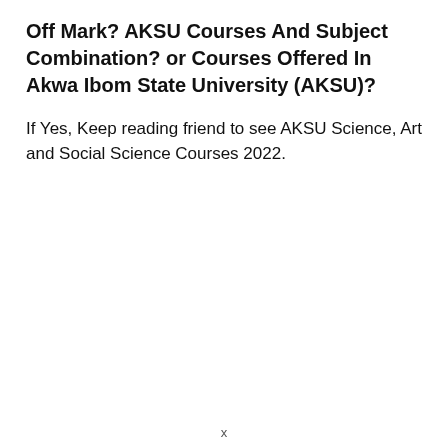Off Mark? AKSU Courses And Subject Combination? or Courses Offered In Akwa Ibom State University (AKSU)?
If Yes, Keep reading friend to see AKSU Science, Art and Social Science Courses 2022.
x